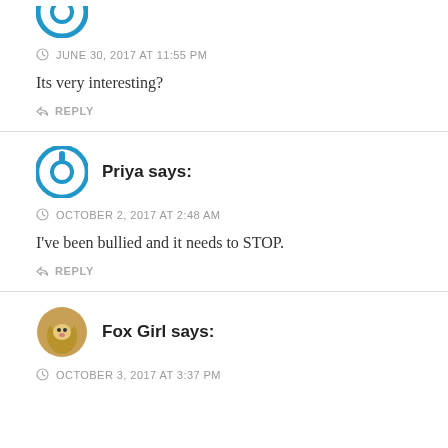[Figure (other): Partial avatar icon at top of page (blue circular icon, cropped)]
JUNE 30, 2017 AT 11:55 PM
Its very interesting?
REPLY
[Figure (other): Blue power/on-off symbol avatar for user Priya]
Priya says:
OCTOBER 2, 2017 AT 2:48 AM
I've been bullied and it needs to STOP.
REPLY
[Figure (photo): Fox Girl avatar - circular photo of fox/animal]
Fox Girl says:
OCTOBER 3, 2017 AT 3:37 PM